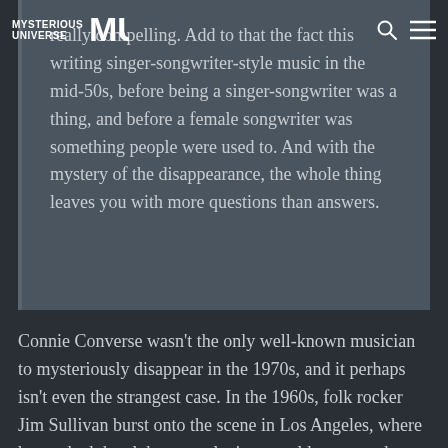MYSTERIOUS UNIVERSE
really compelling. Add to that the fact this writing singer-songwriter-style music in the mid-50s, before being a singer-songwriter was a thing, and before a female songwriter was something people were used to. And with the mystery of the disappearance, the whole thing leaves you with more questions than answers.
Connie Converse wasn't the only well-known musician to mysteriously disappear in the 1970s, and it perhaps isn't even the strangest case. In the 1960s, folk rocker Jim Sullivan burst onto the scene in Los Angeles, where he worked the club scene playing to sold out crowds, especially at